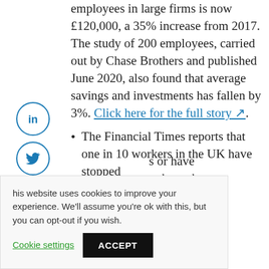employees in large firms is now £120,000, a 35% increase from 2017. The study of 200 employees, carried out by Chase Brothers and published June 2020, also found that average savings and investments has fallen by 3%. Click here for the full story.
The Financial Times reports that one in 10 workers in the UK have stopped
s or have in the wake New 11 per cent ed to pulling back
This website uses cookies to improve your experience. We'll assume you're ok with this, but you can opt-out if you wish. Cookie settings ACCEPT